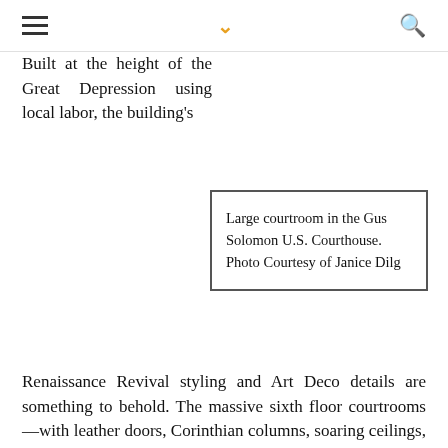☰ ˅ 🔍
Built at the height of the Great Depression using local labor, the building's Renaissance Revival styling and Art Deco details are something to behold. The massive sixth floor courtrooms—with leather doors, Corinthian columns, soaring ceilings, and oak desks—command immediate attention. Judge Jelderks led the group through the building's many idiosyncratic details: the sixth floor courtroom's bronze lamps, the seventh floor courtroom's curved jury box, and the seventh floor courtroom's separate entrance for the attorneys and the public. Judge Jelderks also included a
Large courtroom in the Gus Solomon U.S. Courthouse. Photo Courtesy of Janice Dilg